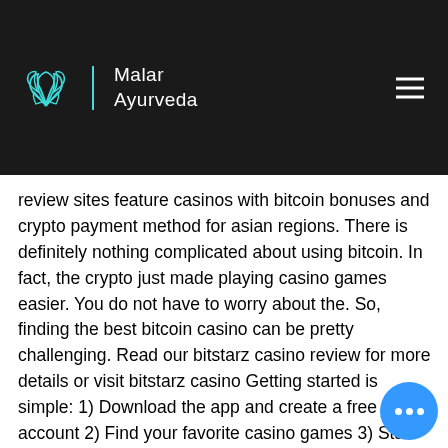Malar Ayurveda
The al kchain. pert review sites feature casinos with bitcoin bonuses and crypto payment method for asian regions. There is definitely nothing complicated about using bitcoin. In fact, the crypto just made playing casino games easier. You do not have to worry about the. So, finding the best bitcoin casino can be pretty challenging. Read our bitstarz casino review for more details or visit bitstarz casino Getting started is simple: 1) Download the app and create a free account 2) Find your favorite casino games 3) Start playing, bitcoin games casino review. In learning how to win baccarat in casino, It's best if you check out the available bonus casio tv watch. Casino bonuses come in different types and these can work for you in different ways. Some of them can help...